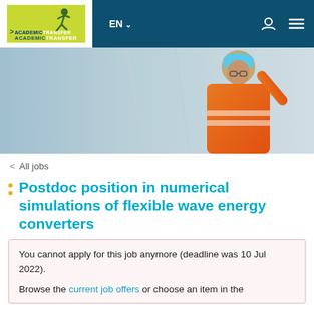[Figure (logo): AcademicTransfer logo with yellow-green background and person silhouette]
EN ∨
[Figure (photo): Construction worker in orange high-vis jacket and blue hard hat pointing upward against a light blue sky background]
< All jobs
Postdoc position in numerical simulations of flexible wave energy converters
You cannot apply for this job anymore (deadline was 10 Jul 2022).

Browse the current job offers or choose an item in the